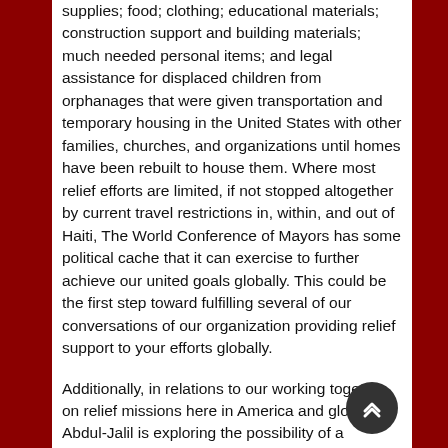supplies; food; clothing; educational materials; construction support and building materials; much needed personal items; and legal assistance for displaced children from orphanages that were given transportation and temporary housing in the United States with other families, churches, and organizations until homes have been rebuilt to house them. Where most relief efforts are limited, if not stopped altogether by current travel restrictions in, within, and out of Haiti, The World Conference of Mayors has some political cache that it can exercise to further achieve our united goals globally. This could be the first step toward fulfilling several of our conversations of our organization providing relief support to your efforts globally.
Additionally, in relations to our working together on relief missions here in America and globally, Abdul-Jalil is exploring the possibility of a telethon, perhaps with J. C. Watts Black Television News Channel (BTNC). To that end the WCM is prepared to provide it's full support to your and our joint efforts to overcome the continual need for financial assistance to achieve our goals. These